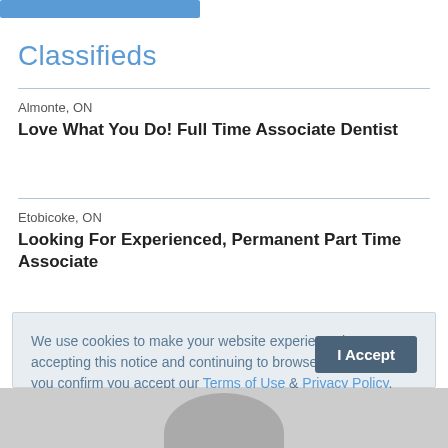[Figure (other): Blue button/bar at top of page]
Classifieds
Almonte, ON
Love What You Do! Full Time Associate Dentist
Etobicoke, ON
Looking For Experienced, Permanent Part Time Associate
We use cookies to make your website experience better. By accepting this notice and continuing to browse our website you confirm you accept our Terms of Use & Privacy Policy.

read more >>
[Figure (photo): Partial photo of a person visible at the bottom of the page]